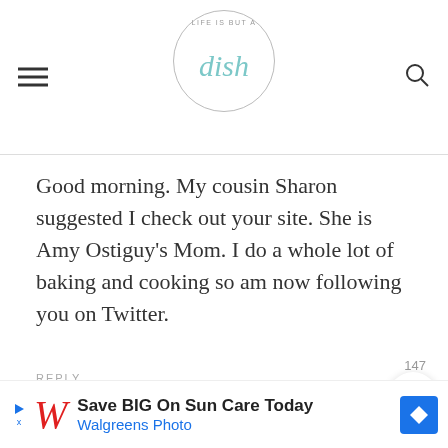Life is but a dish — navigation header with hamburger menu, logo, and search icon
Good morning. My cousin Sharon suggested I check out your site. She is Amy Ostiguy's Mom. I do a whole lot of baking and cooking so am now following you on Twitter.
REPLY
[Figure (other): Walgreens advertisement banner: Save BIG On Sun Care Today, Walgreens Photo]
147 likes, heart button, search button